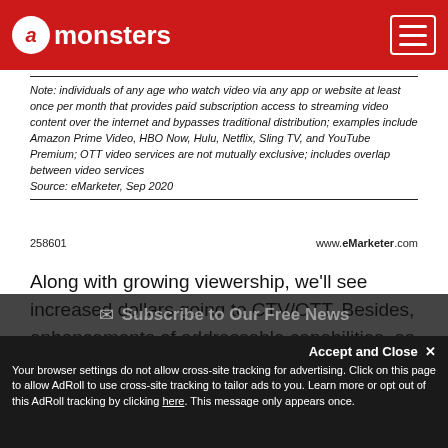admonsters [logo/navigation header]
Note: individuals of any age who watch video via any app or website at least once per month that provides paid subscription access to streaming video content over the internet and bypasses traditional distribution; examples include Amazon Prime Video, HBO Now, Hulu, Netflix, Sling TV, and YouTube Premium; OTT video services are not mutually exclusive; includes overlap between video services
Source: eMarketer, Sep 2020
258601    www.eMarketer.com
Along with growing viewership, we'll see increased dollars going to CTV/OTT. Besides, enhancements of addressable capabilities, as well as further progress to more accurate and multiplatform measurement and transparency, are upon us.
Video Ad Formats Hitting the Score